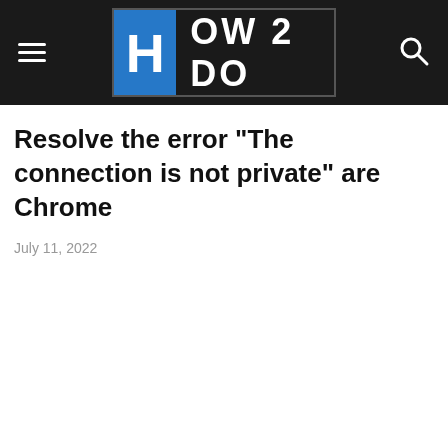[Figure (screenshot): Website navigation bar with hamburger menu on left, HOW 2 DO logo in center on dark background, and search icon on right]
Resolve the error "The connection is not private" are Chrome
July 11, 2022